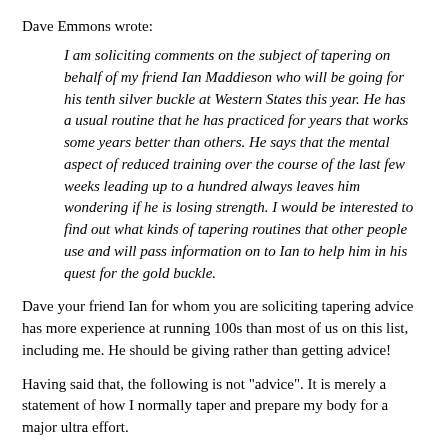Dave Emmons wrote:
I am soliciting comments on the subject of tapering on behalf of my friend Ian Maddieson who will be going for his tenth silver buckle at Western States this year. He has a usual routine that he has practiced for years that works some years better than others. He says that the mental aspect of reduced training over the course of the last few weeks leading up to a hundred always leaves him wondering if he is losing strength. I would be interested to find out what kinds of tapering routines that other people use and will pass information on to Ian to help him in his quest for the gold buckle.
Dave your friend Ian for whom you are soliciting tapering advice has more experience at running 100s than most of us on this list, including me. He should be giving rather than getting advice!
Having said that, the following is not "advice". It is merely a statement of how I normally taper and prepare my body for a major ultra effort.
I usually run my peak mileage week three weeks before the ultra. Then I start my taper, i.e. reduced training mileage. In the first